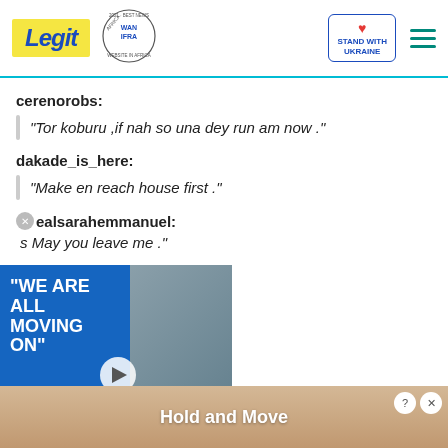Legit | WAN IFRA 2021 Best News Website in Africa | Stand with Ukraine
cerenorobs:
"Tor koburu ,if nah so una dey run am now ."
dakade_is_here:
"Make en reach house first ."
realsarahemmanuel:
[Figure (photo): Video advertisement overlay showing two people (man in blue jacket and woman) with text WE ARE ALL MOVING ON]
s May you leave me ."
ntertainment."
[Figure (advertisement): Bottom banner ad showing Hold and Move with cartoon figures]